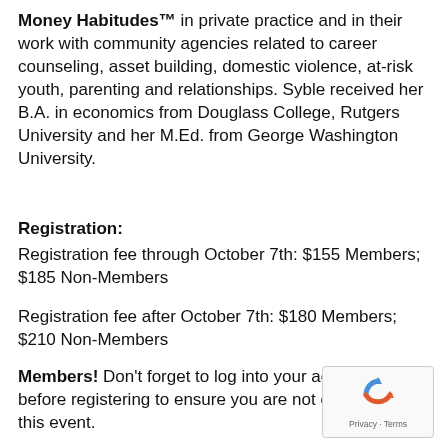Money Habitudes™ in private practice and in their work with community agencies related to career counseling, asset building, domestic violence, at-risk youth, parenting and relationships. Syble received her B.A. in economics from Douglass College, Rutgers University and her M.Ed. from George Washington University.
Registration:
Registration fee through October 7th: $155 Members; $185 Non-Members
Registration fee after October 7th: $180 Members; $210 Non-Members
Members! Don't forget to log into your account first before registering to ensure you are not charged for this event.
[Figure (other): reCAPTCHA widget with Privacy and Terms links]